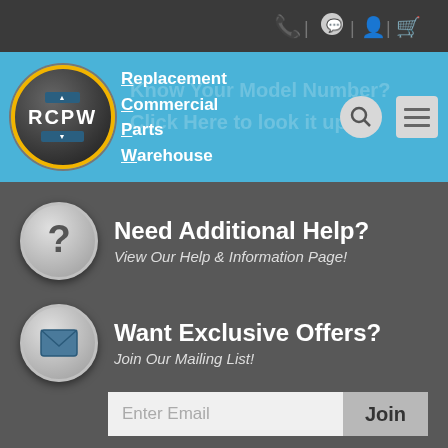[Figure (logo): RCPW logo - Replacement Commercial Parts Warehouse in blue navigation bar with circular emblem]
Replacement Commercial Parts Warehouse
Need Additional Help? View Our Help & Information Page!
Want Exclusive Offers? Join Our Mailing List!
Enter Email
Join
Family Owned & Operated Since 1980